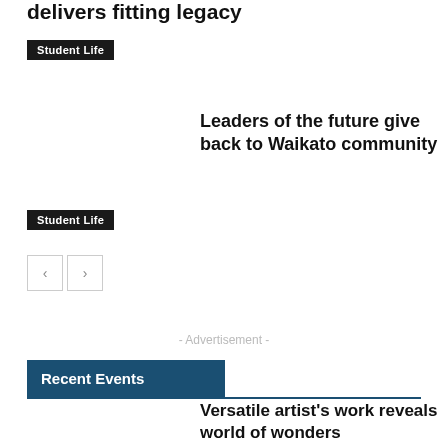delivers fitting legacy
Student Life
Leaders of the future give back to Waikato community
Student Life
< >
- Advertisement -
Recent Events
Versatile artist's work reveals world of wonders